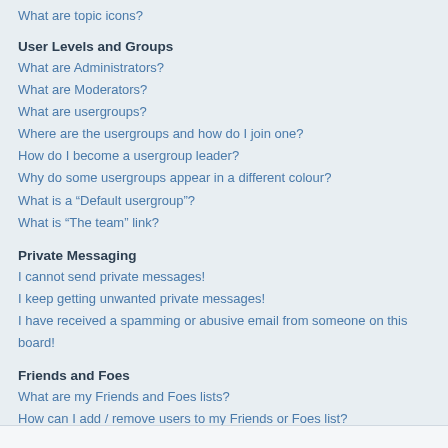What are topic icons?
User Levels and Groups
What are Administrators?
What are Moderators?
What are usergroups?
Where are the usergroups and how do I join one?
How do I become a usergroup leader?
Why do some usergroups appear in a different colour?
What is a “Default usergroup”?
What is “The team” link?
Private Messaging
I cannot send private messages!
I keep getting unwanted private messages!
I have received a spamming or abusive email from someone on this board!
Friends and Foes
What are my Friends and Foes lists?
How can I add / remove users to my Friends or Foes list?
Searching the Forums
How can I search a forum or forums?
Why does my search return no results?
Why does my search return a blank page!?
How do I search for members?